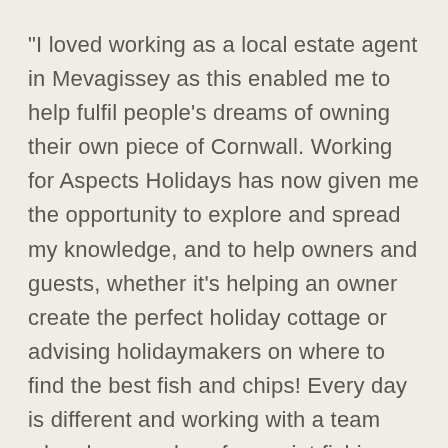"I loved working as a local estate agent in Mevagissey as this enabled me to help fulfil people's dreams of owning their own piece of Cornwall. Working for Aspects Holidays has now given me the opportunity to explore and spread my knowledge, and to help owners and guests, whether it's helping an owner create the perfect holiday cottage or advising holidaymakers on where to find the best fish and chips! Every day is different and working with a team who share my love for quaint fishing harbours to sleepy beaches is fantastic."